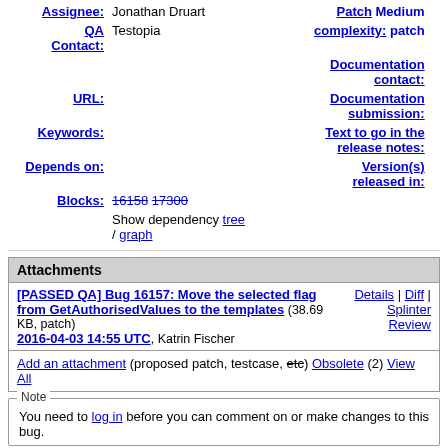Assignee: Jonathan Druart
QA Contact: Testopia
URL:
Keywords:
Depends on:
Blocks: 16158 17300
Show dependency tree / graph
Patch Medium complexity: patch
Documentation contact:
Documentation submission:
Text to go in the release notes:
Version(s) released in:
| Attachments |  |
| --- | --- |
| [PASSED QA] Bug 16157: Move the selected flag from GetAuthorisedValues to the templates (38.69 KB, patch)
2016-04-03 14:55 UTC, Katrin Fischer | Details | Diff | Splinter Review |
| Add an attachment (proposed patch, testcase, etc) Obsolete (2) View All |  |
Note
You need to log in before you can comment on or make changes to this bug.